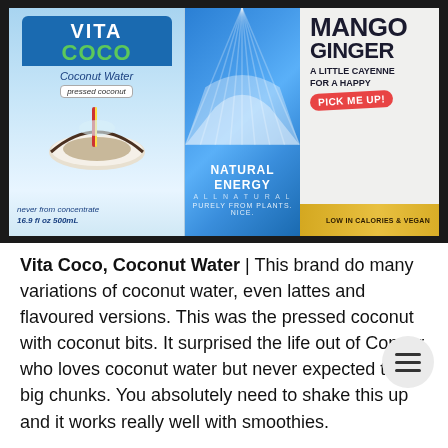[Figure (photo): Three beverage products on a dark surface: Vita Coco Coconut Water carton (pressed coconut, never from concentrate, 16.9 fl oz 500mL), a blue Natural Energy can (purely from plants), and a Mango Ginger can (a little cayenne for a happy pick me up, low in calories).]
Vita Coco, Coconut Water | This brand do many variations of coconut water, even lattes and flavoured versions. This was the pressed coconut with coconut bits. It surprised the life out of Connor who loves coconut water but never expected the big chunks. You absolutely need to shake this up and it works really well with smoothies.